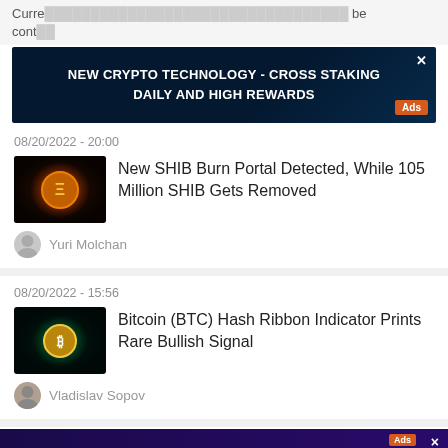Curre... be cont...
[Figure (screenshot): Dark blue advertisement banner: NEW CRYPTO TECHNOLOGY - CROSS STAKING DAILY AND HIGH REWARDS, with Ads label and X close button]
08/20/2022 - 20:00
[Figure (photo): SHIB coin thumbnail with orange flame and yellow coin logo]
New SHIB Burn Portal Detected, While 105 Million SHIB Gets Removed
Yuri Molchan
08/20/2022 - 15:56
[Figure (photo): BTC coin thumbnail with green lightning on dark background]
Bitcoin (BTC) Hash Ribbon Indicator Prints Rare Bullish Signal
Vladislav Sopov
[Figure (screenshot): Purple Cardalonia advertisement banner: Cardalonia Presale Is Live, Join Presale button, Ads label and X close button]
08/2...